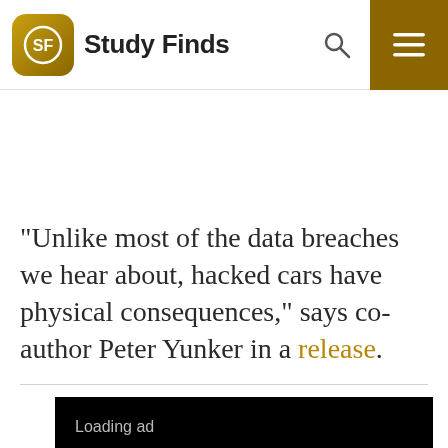Study Finds
“Unlike most of the data breaches we hear about, hacked cars have physical consequences,” says co-author Peter Yunker in a release.
[Figure (other): Loading ad placeholder with dark background and loading spinner below]